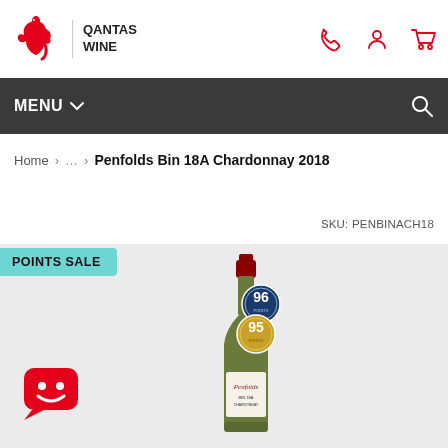[Figure (logo): Qantas Wine logo with red kangaroo and text QANTAS WINE]
MENU
Home > ... > Penfolds Bin 18A Chardonnay 2018
SKU: PENBINACH18
POINTS SALE
[Figure (photo): Penfolds wine bottle with two rating medals: 96 points (blue medal) and 95 points (gold medal)]